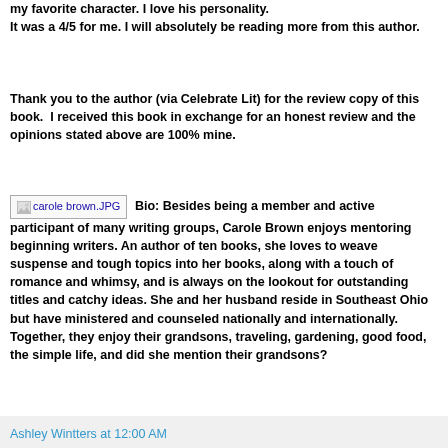my favorite character. I love his personality. It was a 4/5 for me. I will absolutely be reading more from this author.
Thank you to the author (via Celebrate Lit) for the review copy of this book. I received this book in exchange for an honest review and the opinions stated above are 100% mine.
[Figure (photo): Placeholder image for carole brown.JPG]
Bio: Besides being a member and active participant of many writing groups, Carole Brown enjoys mentoring beginning writers. An author of ten books, she loves to weave suspense and tough topics into her books, along with a touch of romance and whimsy, and is always on the lookout for outstanding titles and catchy ideas. She and her husband reside in Southeast Ohio but have ministered and counseled nationally and internationally. Together, they enjoy their grandsons, traveling, gardening, good food, the simple life, and did she mention their grandsons?
Ashley Wintters at 12:00 AM